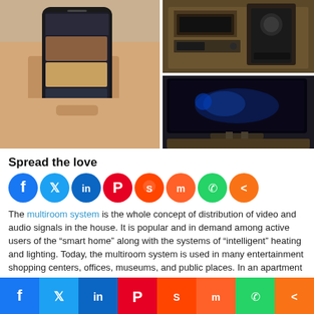[Figure (photo): A hand holding a smartphone showing a smart home app on the left, and a home entertainment center with speakers and TV on the right (two stacked photos).]
Spread the love
[Figure (infographic): Row of social media share buttons: Facebook, Twitter, LinkedIn, Pinterest, Reddit, Mix, WhatsApp, More.]
The multiroom system is the whole concept of distribution of video and audio signals in the house. It is popular and in demand among active users of the “smart home” along with the systems of “intelligent” heating and lighting. Today, the multiroom system is used in many entertainment shopping centers, offices, museums, and public places. In an apartment or private house, multiroom acts as one of the
[Figure (infographic): Bottom sticky social share bar: Facebook (blue), Twitter (light blue), LinkedIn (blue), Pinterest (red), Reddit (orange-red), Mix (orange), WhatsApp (green), More (orange).]